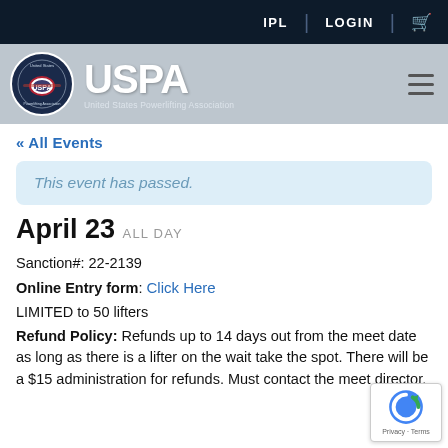IPL | LOGIN
[Figure (logo): USPA United States Powerlifting Association logo with circular emblem and large USPA text]
« All Events
This event has passed.
April 23 ALL DAY
Sanction#: 22-2139
Online Entry form: Click Here
LIMITED to 50 lifters
Refund Policy: Refunds up to 14 days out from the meet date as long as there is a lifter on the wait take the spot. There will be a $15 administration for refunds. Must contact the meet director.